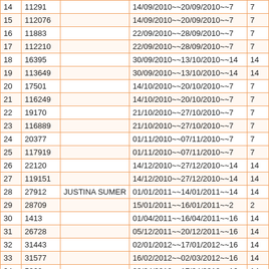|  |  |  |  |  |
| --- | --- | --- | --- | --- |
| 14 | 11291 |  | 14/09/2010~~20/09/2010~~7 | 7 |
| 15 | 112076 |  | 14/09/2010~~20/09/2010~~7 | 7 |
| 16 | 11883 |  | 22/09/2010~~28/09/2010~~7 | 7 |
| 17 | 112210 |  | 22/09/2010~~28/09/2010~~7 | 7 |
| 18 | 16395 |  | 30/09/2010~~13/10/2010~~14 | 14 |
| 19 | 113649 |  | 30/09/2010~~13/10/2010~~14 | 14 |
| 20 | 17501 |  | 14/10/2010~~20/10/2010~~7 | 7 |
| 21 | 116249 |  | 14/10/2010~~20/10/2010~~7 | 7 |
| 22 | 19170 |  | 21/10/2010~~27/10/2010~~7 | 7 |
| 23 | 116889 |  | 21/10/2010~~27/10/2010~~7 | 7 |
| 24 | 20377 |  | 01/11/2010~~07/11/2010~~7 | 7 |
| 25 | 117919 |  | 01/11/2010~~07/11/2010~~7 | 7 |
| 26 | 22120 |  | 14/12/2010~~27/12/2010~~14 | 14 |
| 27 | 119151 |  | 14/12/2010~~27/12/2010~~14 | 14 |
| 28 | 27912 | JUSTINA SUMER | 01/01/2011~~14/01/2011~~14 | 14 |
| 29 | 28709 |  | 15/01/2011~~16/01/2011~~2 | 2 |
| 30 | 1413 |  | 01/04/2011~~16/04/2011~~16 | 14 |
| 31 | 26728 |  | 05/12/2011~~20/12/2011~~16 | 14 |
| 32 | 31443 |  | 02/01/2012~~17/01/2012~~16 | 14 |
| 33 | 31577 |  | 16/02/2012~~02/03/2012~~16 | 14 |
| 34 | 5260 |  | 02/04/2012~~17/04/2012~~16 | 14 |
| 35 | 23617 |  | 02/04/2012~~15/04/2012~~14 | 14 |
| 36 | 6677 |  | 23/04/2012~~08/05/2012~~16 | 14 |
| 37 | 12903 |  | 11/10/2012~~18/10/2012~~8 | 7 |
| 38 | 3421 |  | 18/05/2013~~24/05/2013~~7 | 6 |